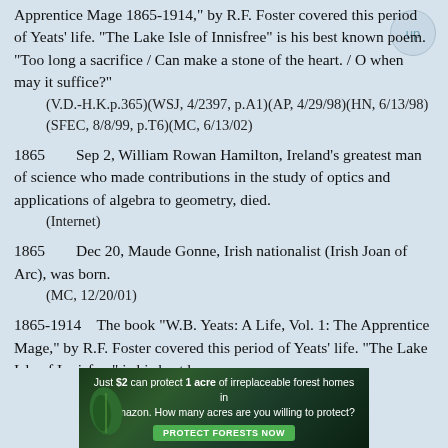Apprentice Mage 1865-1914," by R.F. Foster covered this period of Yeats' life. "The Lake Isle of Innisfree" is his best known poem. "Too long a sacrifice / Can make a stone of the heart. / O when may it suffice?"
(V.D.-H.K.p.365)(WSJ, 4/2397, p.A1)(AP, 4/29/98)(HN, 6/13/98)(SFEC, 8/8/99, p.T6)(MC, 6/13/02)
1865        Sep 2, William Rowan Hamilton, Ireland's greatest man of science who made contributions in the study of optics and applications of algebra to geometry, died.
    (Internet)
1865        Dec 20, Maude Gonne, Irish nationalist (Irish Joan of Arc), was born.
    (MC, 12/20/01)
1865-1914    The book "W.B. Yeats: A Life, Vol. 1: The Apprentice Mage," by R.F. Foster covered this period of Yeats' life. "The Lake Isle of Innisfree" is his best known poem.
[Figure (other): Advertisement banner: 'Just $2 can protect 1 acre of irreplaceable forest homes in the Amazon. How many acres are you willing to protect?' with a green Protect Forests Now button and forest/leaf imagery.]